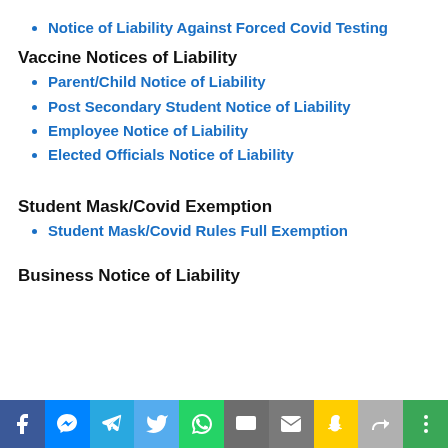Notice of Liability Against Forced Covid Testing
Vaccine Notices of Liability
Parent/Child Notice of Liability
Post Secondary Student Notice of Liability
Employee Notice of Liability
Elected Officials Notice of Liability
Student Mask/Covid Exemption
Student Mask/Covid Rules Full Exemption
Business Notice of Liability
[Figure (infographic): Social media sharing bar with icons for Facebook, Messenger, Telegram, Twitter, WhatsApp, SMS, Email, Snapchat, Share, and more options]